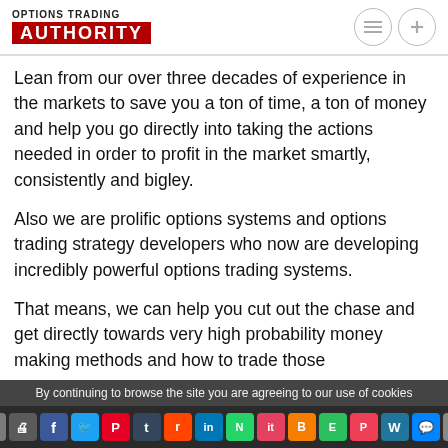OPTIONS TRADING AUTHORITY
Lean from our over three decades of experience in the markets to save you a ton of time, a ton of money and help you go directly into taking the actions needed in order to profit in the market smartly, consistently and bigley.
Also we are prolific options systems and options trading strategy developers who now are developing incredibly powerful options trading systems.
That means, we can help you cut out the chase and get directly towards very high probability money making methods and how to trade those
By continuing to browse the site you are agreeing to our use of cookies